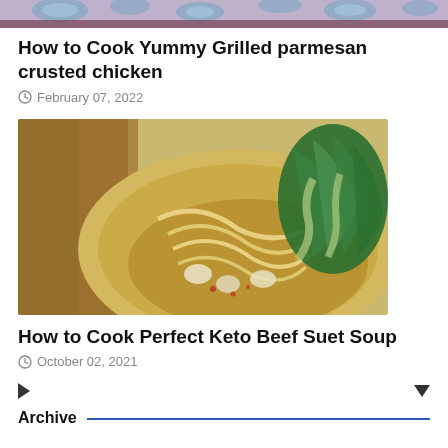[Figure (photo): Partial top view of a decorative plate with floral blue pattern, cropped at the top of the page]
How to Cook Yummy Grilled parmesan crusted chicken
February 07, 2022
[Figure (photo): Bowl of noodle soup with chopsticks, bok choy, and broth with clams or scallops]
How to Cook Perfect Keto Beef Suet Soup
October 02, 2021
Archive